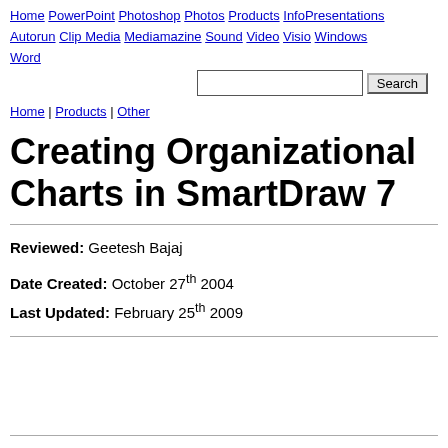Home PowerPoint Photoshop Photos Products InfoPresentations Autorun Clip Media Mediamazine Sound Video Visio Windows Word
Home | Products | Other
Creating Organizational Charts in SmartDraw 7
Reviewed: Geetesh Bajaj
Date Created: October 27th 2004
Last Updated: February 25th 2009